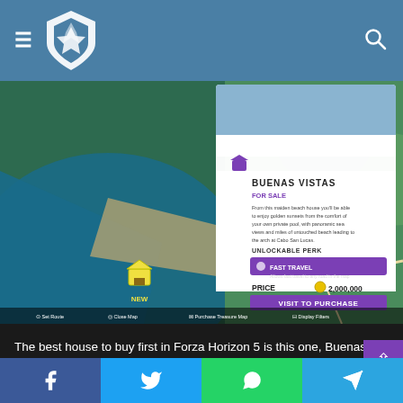Navigation header with hamburger menu, shield logo, and search icon
[Figure (screenshot): Forza Horizon 5 game map screenshot showing the Baja California region with a property card for 'Buenas Vistas' - For Sale, price 2,000,000 credits, with Fast Travel unlockable perk and Visit to Purchase button]
The best house to buy first in Forza Horizon 5 is this one, Buenas Vistas in the Baja region. If you want to buy a player house you first need to unlock the Horizon Festival in that region, so the Baja region for this house.
Social share buttons: Facebook, Twitter, WhatsApp, Telegram